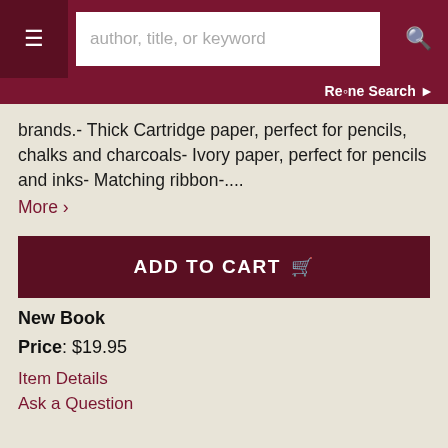≡ [search box: author, title, or keyword] 🔍
Re•ne Search ›
brands.- Thick Cartridge paper, perfect for pencils, chalks and charcoals- Ivory paper, perfect for pencils and inks- Matching ribbon-.... More ›
ADD TO CART 🛒
New Book
Price: $19.95
Item Details
Ask a Question